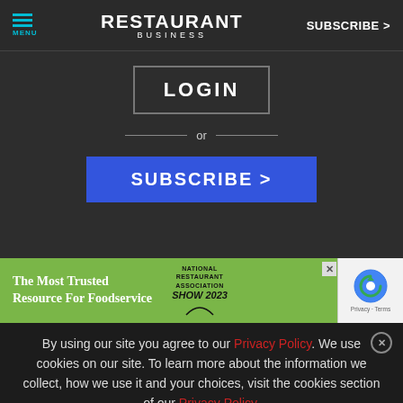MENU | RESTAURANT BUSINESS | SUBSCRIBE >
LOGIN
or
SUBSCRIBE >
[Figure (infographic): Green ad banner: The Most Trusted Resource For Foodservice, National Restaurant Association Show 2023, with reCAPTCHA widget overlay]
By using our site you agree to our Privacy Policy. We use cookies on our site. To learn more about the information we collect, how we use it and your choices, visit the cookies section of our Privacy Policy.